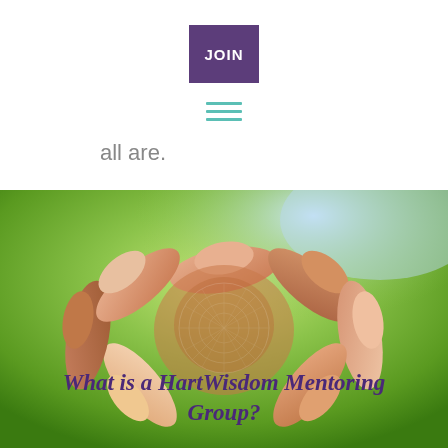JOIN
all are.
[Figure (photo): Circle of people interlocking wrists/hands against a green bokeh background, with a faint mandala watermark in the center. Text overlay reads 'What is a HartWisdom Mentoring Group?' in purple cursive script.]
What is a HartWisdom Mentoring Group?